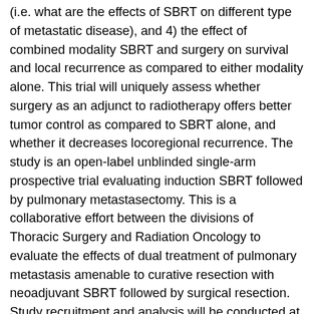(i.e. what are the effects of SBRT on different type of metastatic disease), and 4) the effect of combined modality SBRT and surgery on survival and local recurrence as compared to either modality alone. This trial will uniquely assess whether surgery as an adjunct to radiotherapy offers better tumor control as compared to SBRT alone, and whether it decreases locoregional recurrence. The study is an open-label unblinded single-arm prospective trial evaluating induction SBRT followed by pulmonary metastasectomy. This is a collaborative effort between the divisions of Thoracic Surgery and Radiation Oncology to evaluate the effects of dual treatment of pulmonary metastasis amenable to curative resection with neoadjuvant SBRT followed by surgical resection. Study recruitment and analysis will be conducted at St. Joseph Healthcare Hamilton and the Juravinski Cancer Center. Institutional data suggests that the Division of Thoracic Surgery at McMaster University performs an average of 450 pulmonary resections per year with approximately 10-15% being pulmonary metastasectomies for a spectrum of malignancies (including colorectal carcinoma, renal cell carcinoma and soft tissue